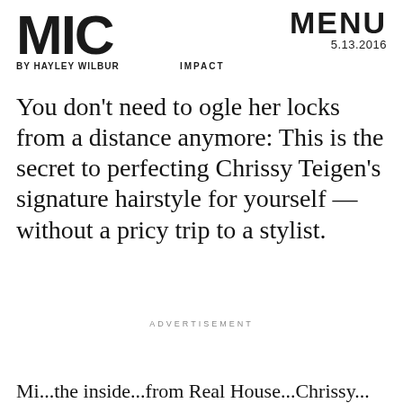MIC | BY HAYLEY WILBUR | IMPACT | MENU 5.13.2016
You don't need to ogle her locks from a distance anymore: This is the secret to perfecting Chrissy Teigen's signature hairstyle for yourself — without a pricy trip to a stylist.
ADVERTISEMENT
Mi... the inside...from Real House... Chrissy...